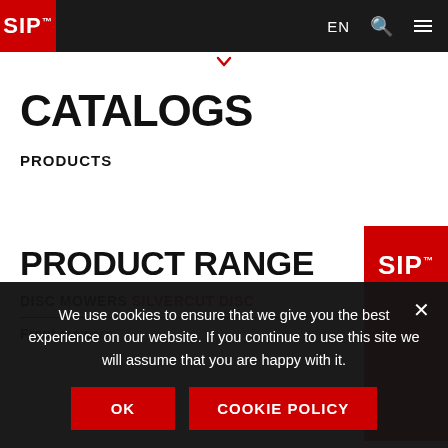SIP™ | EN | Search | Menu
CATALOGS
PRODUCTS
PRODUCT RANGE
DISC MOWERS SILVERCUT DISC
Front mowers
[Figure (logo): SIP logo in white text on red background]
We use cookies to ensure that we give you the best experience on our website. If you continue to use this site we will assume that you are happy with it.
OK | COOKIE POLICY